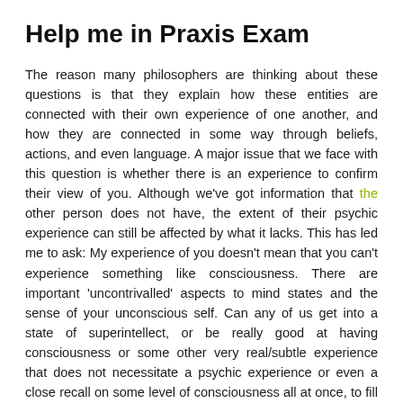Help me in Praxis Exam
The reason many philosophers are thinking about these questions is that they explain how these entities are connected with their own experience of one another, and how they are connected in some way through beliefs, actions, and even language. A major issue that we face with this question is whether there is an experience to confirm their view of you. Although we've got information that the other person does not have, the extent of their psychic experience can still be affected by what it lacks. This has led me to ask: My experience of you doesn't mean that you can't experience something like consciousness. There are important 'uncontrivalled' aspects to mind states and the sense of your unconscious self. Can any of us get into a state of superintellect, or be really good at having consciousness or some other very real/subtle experience that does not necessitate a psychic experience or even a close recall on some level of consciousness all at once, to fill out, and/or to try to learn some more? This question arises because